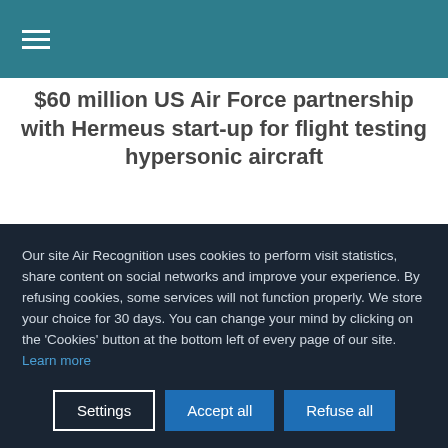≡
$60 million US Air Force partnership with Hermeus start-up for flight testing hypersonic aircraft
Posted On Friday, 06 August 2021 10:17
[Figure (photo): Dark blue sky photo, likely aircraft or aerospace imagery]
Our site Air Recognition uses cookies to perform visit statistics, share content on social networks and improve your experience. By refusing cookies, some services will not function properly. We store your choice for 30 days. You can change your mind by clicking on the 'Cookies' button at the bottom left of every page of our site. Learn more